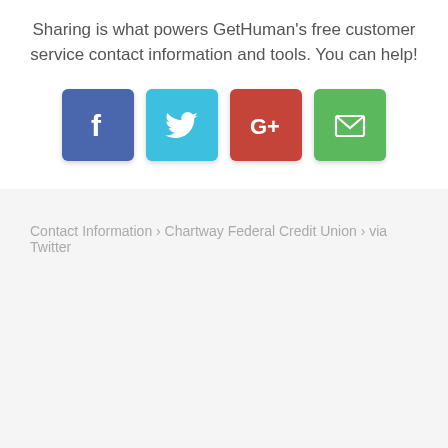Sharing is what powers GetHuman's free customer service contact information and tools. You can help!
[Figure (infographic): Four social sharing buttons: Facebook (blue square with f icon), Twitter (light blue square with bird icon), Google+ (red square with G+ icon), Email (green square with envelope icon)]
Contact Information › Chartway Federal Credit Union › via Twitter